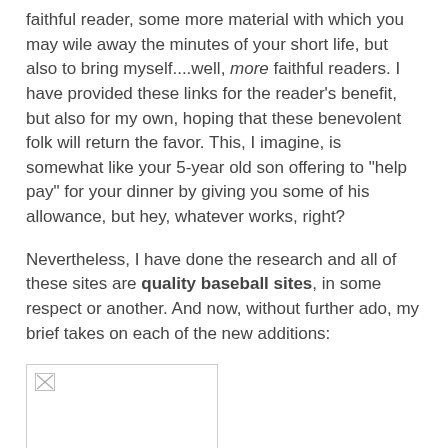faithful reader, some more material with which you may wile away the minutes of your short life, but also to bring myself....well, more faithful readers. I have provided these links for the reader's benefit, but also for my own, hoping that these benevolent folk will return the favor. This, I imagine, is somewhat like your 5-year old son offering to "help pay" for your dinner by giving you some of his allowance, but hey, whatever works, right?
Nevertheless, I have done the research and all of these sites are quality baseball sites, in some respect or another. And now, without further ado, my brief takes on each of the new additions:
[Figure (photo): Image placeholder with broken image icon, white background, light border]
If Ducksnorts were a lousy website, I might have put it up there anyway, just because of the title. But it's snot. Geoffrey